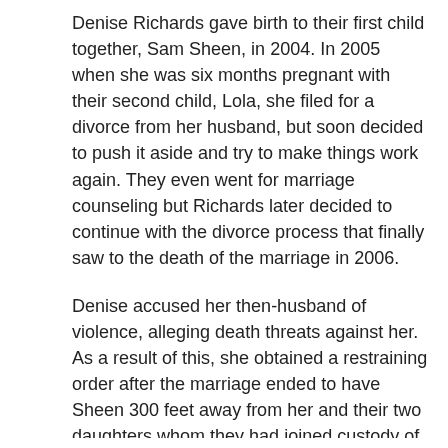Denise Richards gave birth to their first child together, Sam Sheen, in 2004. In 2005 when she was six months pregnant with their second child, Lola, she filed for a divorce from her husband, but soon decided to push it aside and try to make things work again. They even went for marriage counseling but Richards later decided to continue with the divorce process that finally saw to the death of the marriage in 2006.
Denise accused her then-husband of violence, alleging death threats against her. As a result of this, she obtained a restraining order after the marriage ended to have Sheen 300 feet away from her and their two daughters whom they had joined custody of. The only time he was allowed anywhere near her or the kids was during supervised visits.
By 2008, the war between the former lovers was still